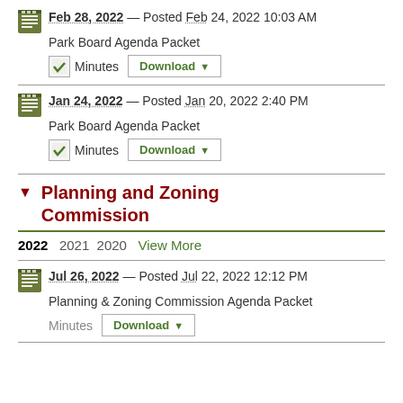Feb 28, 2022 — Posted Feb 24, 2022 10:03 AM
Park Board Agenda Packet
Minutes  Download
Jan 24, 2022 — Posted Jan 20, 2022 2:40 PM
Park Board Agenda Packet
Minutes  Download
Planning and Zoning Commission
2022  2021  2020  View More
Jul 26, 2022 — Posted Jul 22, 2022 12:12 PM
Planning & Zoning Commission Agenda Packet
Minutes  Download